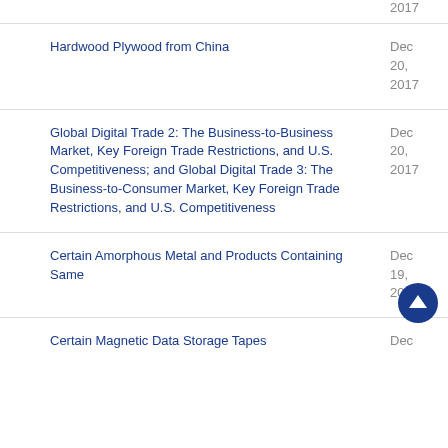| Title | Date |
| --- | --- |
|  | 2017 |
| Hardwood Plywood from China | Dec 20, 2017 |
| Global Digital Trade 2: The Business-to-Business Market, Key Foreign Trade Restrictions, and U.S. Competitiveness; and Global Digital Trade 3: The Business-to-Consumer Market, Key Foreign Trade Restrictions, and U.S. Competitiveness | Dec 20, 2017 |
| Certain Amorphous Metal and Products Containing Same | Dec 19, 2017 |
| Certain Magnetic Data Storage Tapes | Dec |